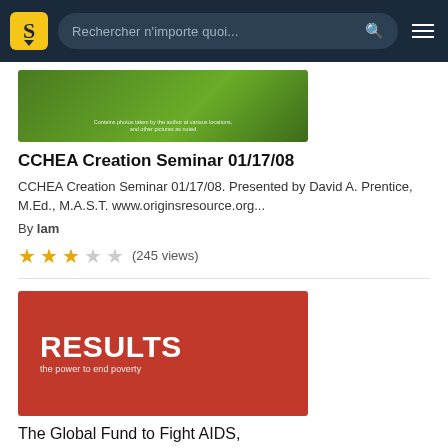Rechercher n'importe quoi...
[Figure (screenshot): Thumbnail image with green background for CCHEA Creation Seminar, text: Contains photos taken by the author at various locations, and other pictures as noted]
CCHEA Creation Seminar 01/17/08
CCHEA Creation Seminar 01/17/08. Presented by David A. Prentice, M.Ed., M.A.S.T. www.originsresource.org...
By lam
★★★☆☆ (245 views)
[Figure (logo): RESULTS – the power to end poverty logo on red background]
The Global Fund to Fight AIDS, Tuberculosis and Malaria